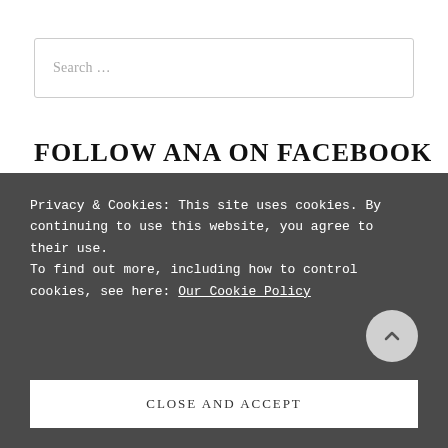Search …
FOLLOW ANA ON FACEBOOK
Privacy & Cookies: This site uses cookies. By continuing to use this website, you agree to their use.
To find out more, including how to control cookies, see here: Our Cookie Policy
CLOSE AND ACCEPT